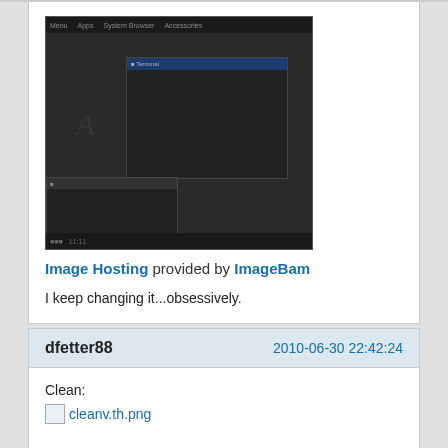[Figure (screenshot): A dark desktop screenshot showing two windows on a dark background with a menu bar at top and taskbar at bottom.]
Image Hosting provided by ImageBam
I keep changing it...obsessively.
dfetter88    2010-06-30 22:42:24
Clean:
[Figure (screenshot): Broken image thumbnail link: cleanv.th.png]
Dirty:
[Figure (screenshot): Broken image thumbnail link: busyus.th.png]
I've basically settled on this setup... finally finished tweaking conky & tint2. Now if I could stop changing wallpapers, I might actually get some